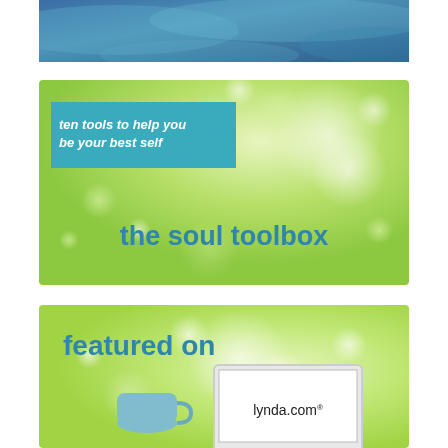[Figure (illustration): Top blue/teal abstract wave banner image]
[Figure (illustration): Green bokeh background card with teal tag reading 'ten tools to help you be your best self' and title 'the soul toolbox']
[Figure (illustration): Green bokeh background card with laptop showing lynda.com and coffee mug, labeled 'featured on']